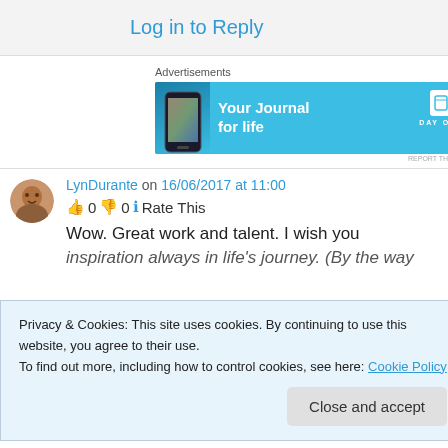Log in to Reply
Advertisements
[Figure (screenshot): Advertisement banner for Day One journaling app with light blue background showing a phone and text 'Your Journal for life']
LynDurante on 16/06/2017 at 11:00
👍 0 👎 0 ℹ Rate This
Wow. Great work and talent. I wish you inspiration always in life's journey. (By the way
Privacy & Cookies: This site uses cookies. By continuing to use this website, you agree to their use.
To find out more, including how to control cookies, see here: Cookie Policy
Close and accept
Liked by 5 people